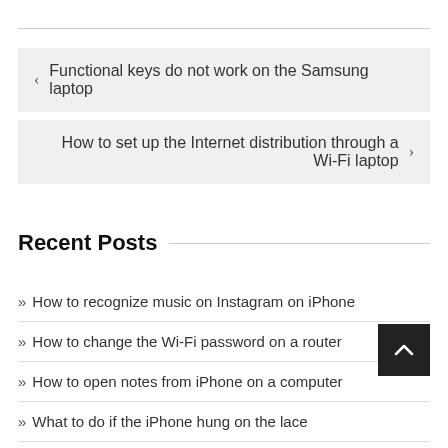‹  Functional keys do not work on the Samsung laptop
How to set up the Internet distribution through a Wi-Fi laptop  ›
Recent Posts
» How to recognize music on Instagram on iPhone
» How to change the Wi-Fi password on a router
» How to open notes from iPhone on a computer
» What to do if the iPhone hung on the lace